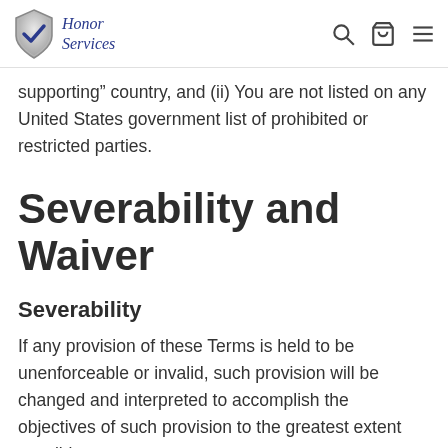Honor Services
supporting” country, and (ii) You are not listed on any United States government list of prohibited or restricted parties.
Severability and Waiver
Severability
If any provision of these Terms is held to be unenforceable or invalid, such provision will be changed and interpreted to accomplish the objectives of such provision to the greatest extent possible